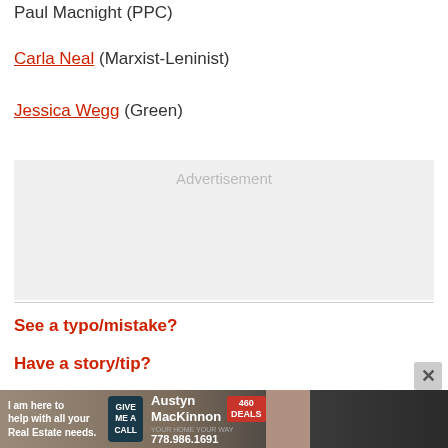Paul Macnight (PPC)
Carla Neal (Marxist-Leninist)
Jessica Wegg (Green)
[Figure (other): Advertisement placeholder box, grey background]
See a typo/mistake?
Have a story/tip?
[Figure (other): Bottom banner advertisement for Austyn MacKinnon Real Estate, phone 778.986.1691]